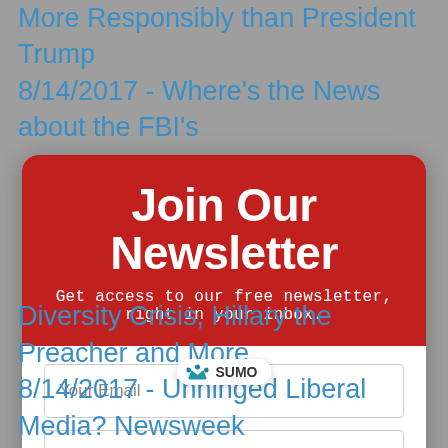More Responsibly than President Trump
8/14/2017 - Where's the News about the FBI's
Join Our Newsletter
Get access to our free newsletter, right in your inbox.
Your Email
Your Name
Sign-up Now
Sorry, I don't have an email address
Diversity Crisis, Hillary the Preacher and More
8/14/2017 - Unhinged Liberal Media? Newsweek
[Figure (logo): SUMO branding badge with crown icon and text 'SUMO']